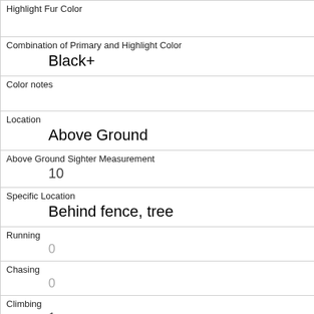| Highlight Fur Color |  |
| Combination of Primary and Highlight Color | Black+ |
| Color notes |  |
| Location | Above Ground |
| Above Ground Sighter Measurement | 10 |
| Specific Location | Behind fence, tree |
| Running | 0 |
| Chasing | 0 |
| Climbing | 1 |
| Eating | 0 |
| Foraging |  |